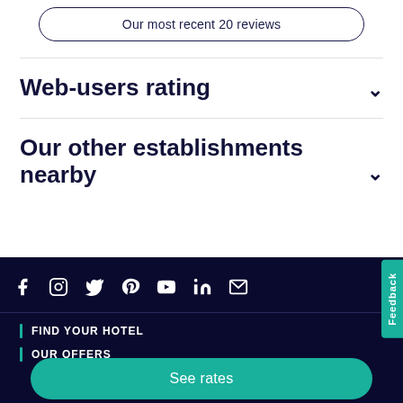Our most recent 20 reviews
Web-users rating
Our other establishments nearby
Social icons: Facebook, Instagram, Twitter, Pinterest, YouTube, LinkedIn, Email
FIND YOUR HOTEL
OUR OFFERS
See rates
Feedback